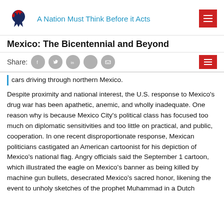A Nation Must Think Before it Acts
Mexico: The Bicentennial and Beyond
cars driving through northern Mexico.
Despite proximity and national interest, the U.S. response to Mexico's drug war has been apathetic, anemic, and wholly inadequate. One reason why is because Mexico City's political class has focused too much on diplomatic sensitivities and too little on practical, and public, cooperation. In one recent disproportionate response, Mexican politicians castigated an American cartoonist for his depiction of Mexico's national flag. Angry officials said the September 1 cartoon, which illustrated the eagle on Mexico's banner as being killed by machine gun bullets, desecrated Mexico's sacred honor, likening the event to unholy sketches of the prophet Muhammad in a Dutch